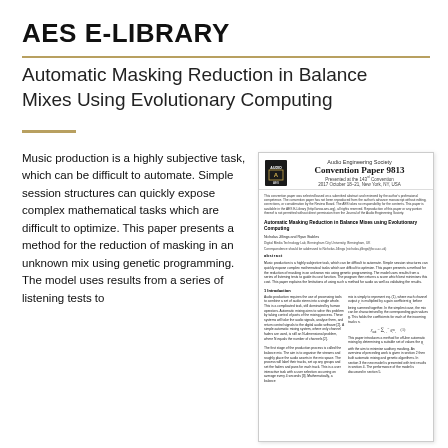AES E-LIBRARY
Automatic Masking Reduction in Balance Mixes Using Evolutionary Computing
Music production is a highly subjective task, which can be difficult to automate. Simple session structures can quickly expose complex mathematical tasks which are difficult to optimize. This paper presents a method for the reduction of masking in an unknown mix using genetic programming. The model uses results from a series of listening tests to
[Figure (other): Thumbnail image of the AES Convention Paper 9813 titled 'Automatic Masking Reduction in Balance Mixes using Evolutionary Computing' by Nicholas Jillings and Ryan Stables, presented at the 143rd Convention, 2017 October 18-21, New York, NY, USA. Shows the paper layout with abstract and introduction section columns.]